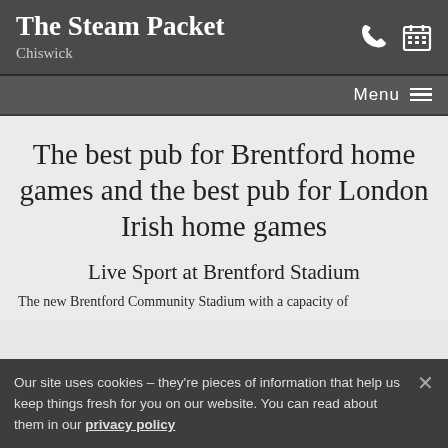The Steam Packet
Chiswick
The best pub for Brentford home games and the best pub for London Irish home games
Live Sport at Brentford Stadium
The new Brentford Community Stadium with a capacity of
Our site uses cookies – they're pieces of information that help us keep things fresh for you on our website. You can read about them in our privacy policy